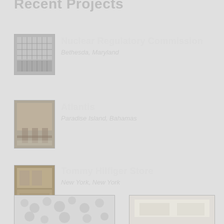Recent Projects
Nuclear Regulatory Commission
Bethesda, Maryland
Atlantis
Paradise Island, Bahamas
Tommy Hilfiger Store
New York, New York
Related Showrooms
[Figure (photo): Floral pattern or decorative surface texture thumbnail]
[Figure (photo): Interior or product image thumbnail]